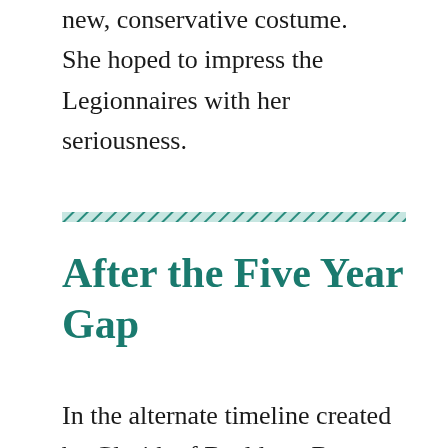new, conservative costume.   She hoped to impress the Legionnaires with her seriousness.
[Figure (other): Diagonal teal/green hatched divider line spanning the full column width]
After the Five Year Gap
In the alternate timeline created by Glorith of Baalduur, Berta finally achieved Legion membership.   Unfortunately, this occurred during the most tumultuous time in the Legion's history.   Nightwind was inducted